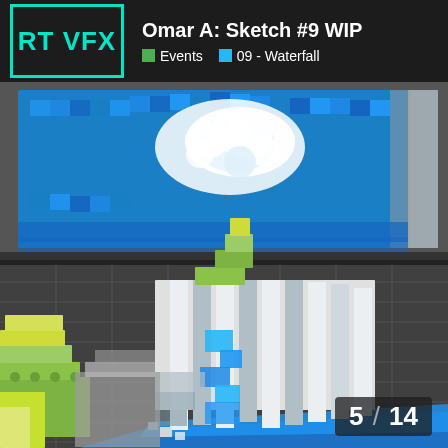RT VFX  Omar A: Sketch #9 WIP  Events  09 - Waterfall
[Figure (screenshot): Two 3D renders of a voxel/LEGO-style waterfall scene. Top image shows top-down view of blue water pool with white foam splash on a gray surface. Bottom image shows a perspective view of a blocky waterfall cliff made of white/gray bricks with blue water, green/yellow LEGO bricks on the sides, on a dark grid floor.]
5 / 14